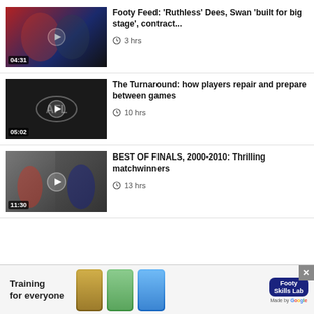[Figure (screenshot): Video thumbnail showing Melbourne Demons players celebrating, with play button overlay and duration 04:31]
Footy Feed: 'Ruthless' Dees, Swan 'built for big stage', contract...
3 hrs
[Figure (screenshot): Dark video thumbnail with AFL logo watermark and play button overlay, duration 05:02]
The Turnaround: how players repair and prepare between games
10 hrs
[Figure (screenshot): Split video thumbnail showing AFL finals match action with players running, duration 11:30]
BEST OF FINALS, 2000-2010: Thrilling matchwinners
13 hrs
[Figure (infographic): Advertisement banner: Training for everyone, Footy Skills Lab, Made by Google]